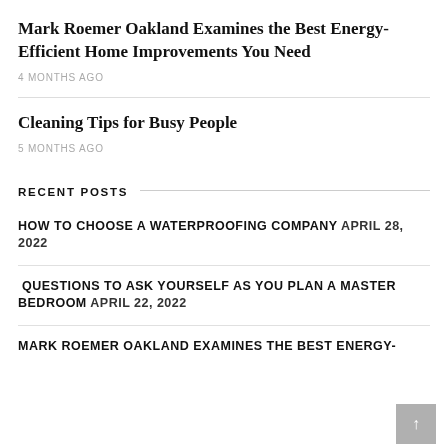Mark Roemer Oakland Examines the Best Energy-Efficient Home Improvements You Need
4 MONTHS AGO
Cleaning Tips for Busy People
5 MONTHS AGO
RECENT POSTS
HOW TO CHOOSE A WATERPROOFING COMPANY APRIL 28, 2022
QUESTIONS TO ASK YOURSELF AS YOU PLAN A MASTER BEDROOM APRIL 22, 2022
MARK ROEMER OAKLAND EXAMINES THE BEST ENERGY-